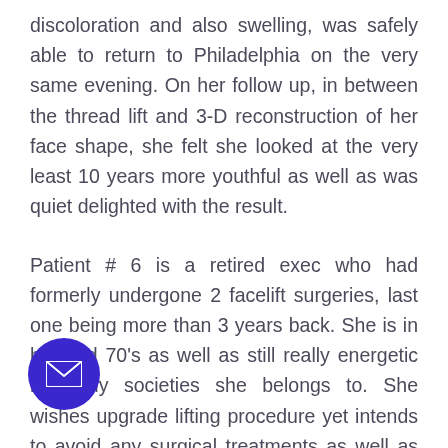discoloration and also swelling, was safely able to return to Philadelphia on the very same evening. On her follow up, in between the thread lift and 3-D reconstruction of her face shape, she felt she looked at the very least 10 years more youthful as well as was quiet delighted with the result.
Patient # 6 is a retired exec who had formerly undergone 2 facelift surgeries, last one being more than 3 years back. She is in her mid 70's as well as still really energetic in many societies she belongs to. She wishes upgrade lifting procedure yet intends to avoid any surgical treatments as well as absolutely avoid any kind anesthetic because of disappointment ughout recent hip replacement surgery. After mindful discussion, she went through Shape
[Figure (other): Purple circular button with envelope/email icon in bottom-left corner of the page]